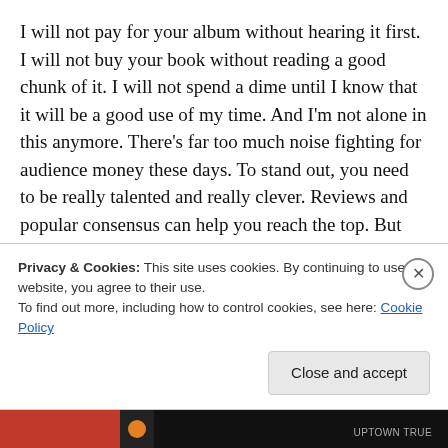I will not pay for your album without hearing it first. I will not buy your book without reading a good chunk of it. I will not spend a dime until I know that it will be a good use of my time. And I'm not alone in this anymore. There's far too much noise fighting for audience money these days. To stand out, you need to be really talented and really clever. Reviews and popular consensus can help you reach the top. But you have to catch the attention of the people first.
The loyalty of fans goes a long way. I will, however, support artists and brands that have earned my trust over
Privacy & Cookies: This site uses cookies. By continuing to use this website, you agree to their use. To find out more, including how to control cookies, see here: Cookie Policy
Close and accept